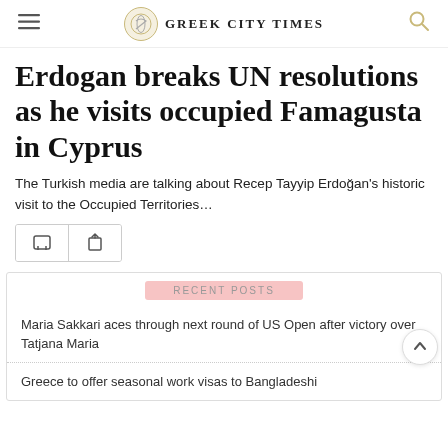GREEK CITY TIMES
Erdogan breaks UN resolutions as he visits occupied Famagusta in Cyprus
The Turkish media are talking about Recep Tayyip Erdoğan's historic visit to the Occupied Territories…
RECENT POSTS
Maria Sakkari aces through next round of US Open after victory over Tatjana Maria
Greece to offer seasonal work visas to Bangladeshi